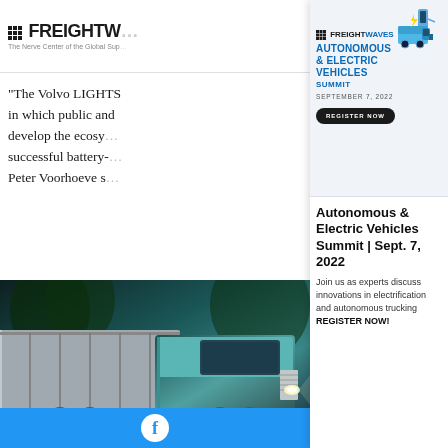FREIGHTWAVES — The Nerve Center of the Global Supply Chain
"The Volvo LIGHTS... in which public and... develop the ecosy... successful battery-... Peter Voorhoeve s...
[Figure (photo): Close-up photo of a semi-truck cab with chrome details and headlights, surrounded by trees]
[Figure (screenshot): FreightWaves Autonomous & Electric Vehicles Summit advertisement popup with blue truck illustration, date September 7, 2022, and Register Now button]
Autonomous & Electric Vehicles Summit | Sept. 7, 2022
Join us as experts discuss innovations in electrification and autonomous trucking
REGISTER NOW!